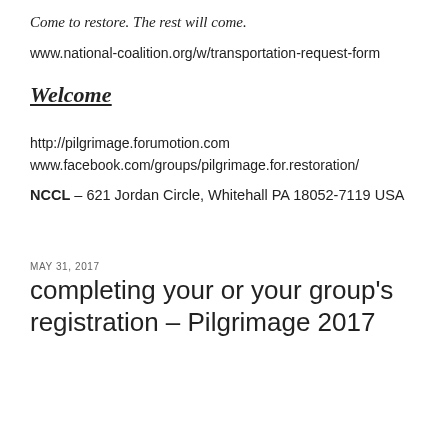Come to restore. The rest will come.
www.national-coalition.org/w/transportation-request-form
Welcome
http://pilgrimage.forumotion.com
www.facebook.com/groups/pilgrimage.for.restoration/
NCCL – 621 Jordan Circle, Whitehall PA 18052-7119 USA
MAY 31, 2017
completing your or your group's registration – Pilgrimage 2017